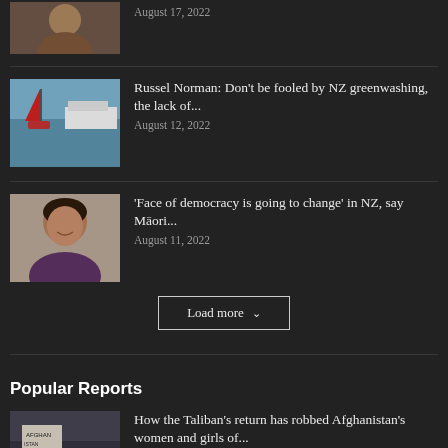[Figure (photo): Top partial article image - person]
August 17, 2022
[Figure (photo): Sailing boat with red flag near large cruise ship]
Russel Norman: Don't be fooled by NZ greenwashing, the lack of...
August 12, 2022
[Figure (photo): Portrait of Maori woman smiling]
'Face of democracy is going to change' in NZ, say Māori...
August 11, 2022
Load more
Popular Reports
[Figure (photo): Protest crowd with Afghanistan sign, people wearing masks]
How the Taliban's return has robbed Afghanistan's women and girls of...
August 30, 2022